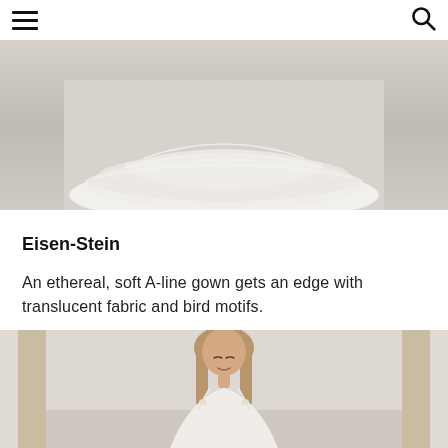[Figure (photo): Bottom portion of a white ethereal wedding gown/dress with layered tulle fabric spread out on a light-colored floor, photographed from above.]
Eisen-Stein
An ethereal, soft A-line gown gets an edge with translucent fabric and bird motifs.
[Figure (photo): A female model with straight blonde-brown hair wearing a white wedding dress with floral/bird motifs on the straps, standing between architectural columns with a light sky background.]